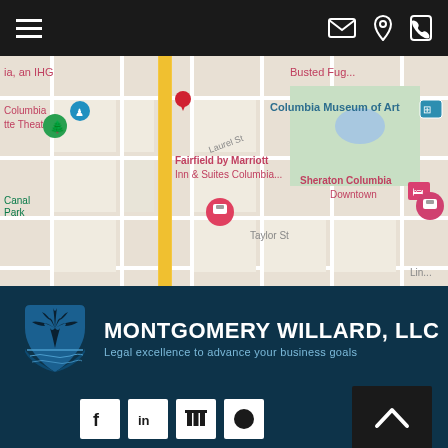[Figure (screenshot): Mobile app navigation bar with hamburger menu icon on left and email, location, phone icons on right]
[Figure (map): Google Maps screenshot showing downtown Columbia, SC area with markers for Fairfield by Marriott Inn & Suites Columbia, Sheraton Columbia Downtown, Columbia Museum of Art, Columbia Marionette Theatre, Canal Park, and a yellow road highlight]
[Figure (logo): Montgomery Willard LLC logo with palm tree in shield icon and tagline 'Legal excellence to advance your business goals']
CALL US TODAY
803-470-0722